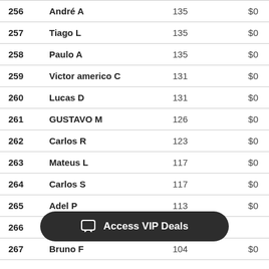| # | Name | Pts | Prize |
| --- | --- | --- | --- |
| 256 | André A | 135 | $0 |
| 257 | Tiago L | 135 | $0 |
| 258 | Paulo A | 135 | $0 |
| 259 | Victor americo C | 131 | $0 |
| 260 | Lucas D | 131 | $0 |
| 261 | GUSTAVO M | 126 | $0 |
| 262 | Carlos R | 123 | $0 |
| 263 | Mateus L | 117 | $0 |
| 264 | Carlos S | 117 | $0 |
| 265 | Adel P | 113 | $0 |
| 266 | Andre N |  |  |
| 267 | Bruno F | 104 | $0 |